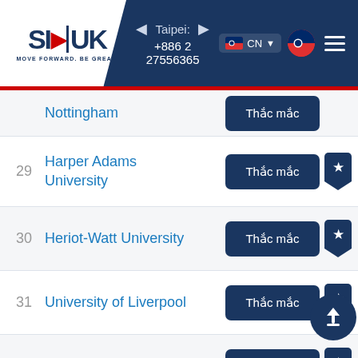[Figure (logo): SI-UK logo with tagline MOVE FORWARD. BE GREAT.]
Taipei: +886 2 27556365
Nottingham - Thắc mắc
29 Harper Adams University - Thắc mắc
30 Heriot-Watt University - Thắc mắc
31 University of Liverpool - Thắc mắc
32 University of Surrey - Thắc mắc
33 SOAS University of London - Thắc mắc